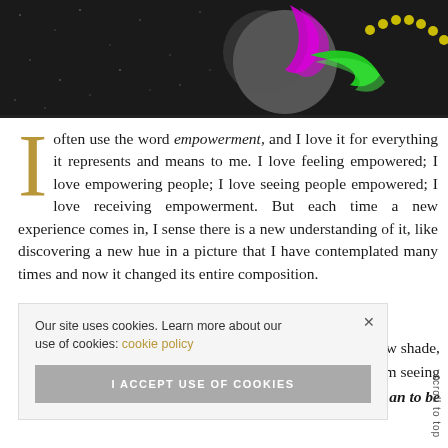[Figure (photo): Dark/black header image with a colorful Mardi Gras-style logo featuring green and magenta feather shapes and a yellow dotted arc on a dark starry/textured background]
I often use the word empowerment, and I love it for everything it represents and means to me. I love feeling empowered; I love empowering people; I love seeing people empowered; I love receiving empowerment. But each time a new experience comes in, I sense there is a new understanding of it, like discovering a new hue in a picture that I have contemplated many times and now it changed its entire composition.
l a new shade, w I am seeing an to be
Our site uses cookies. Learn more about our use of cookies: cookie policy
I ACCEPT USE OF COOKIES
scroll to top